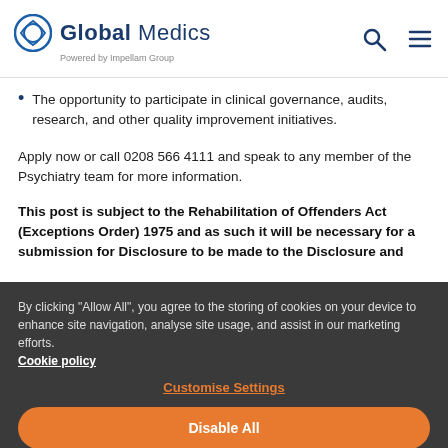Global Medics — Powered by Impellam Group
The opportunity to participate in clinical governance, audits, research, and other quality improvement initiatives.
Apply now or call 0208 566 4111 and speak to any member of the Psychiatry team for more information.
This post is subject to the Rehabilitation of Offenders Act (Exceptions Order) 1975 and as such it will be necessary for a submission for Disclosure to be made to the Disclosure and
By clicking "Allow All", you agree to the storing of cookies on your device to enhance site navigation, analyse site usage, and assist in our marketing efforts.
Cookie policy
Customise Settings
Disable All